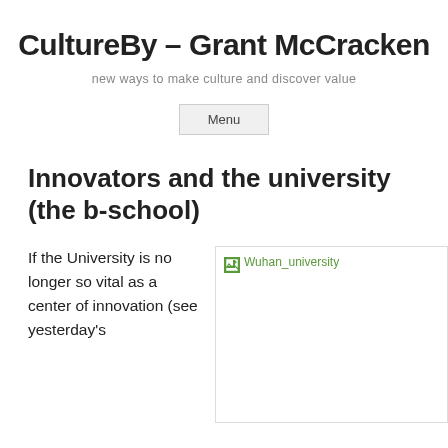CultureBy – Grant McCracken
new ways to make culture and discover value
Menu
Innovators and the university (the b-school)
If the University is no longer so vital as a center of innovation (see yesterday's
[Figure (photo): Broken image placeholder for Wuhan_university with alt text link 'Wuhan_university' in green]